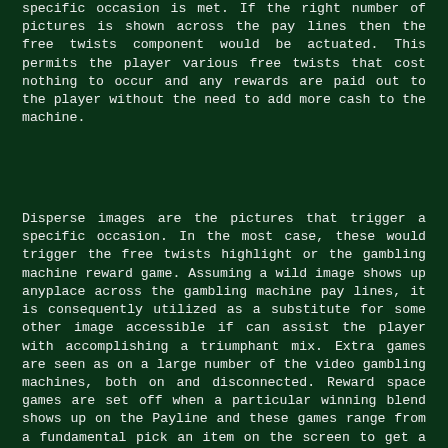specific occasion is met. If the right number of pictures is shown across the pay lines then the free twists component would be actuated. This permits the player various free twists that cost nothing to occur and any rewards are paid out to the player without the need to add more cash to the machine.
Disperse images are the pictures that trigger a specific occasion. In the most case, these would trigger the free twists highlight or the gambling machine reward game. Assuming a wild image shows up anyplace across the gambling machine pay lines, it is consequently utilized as a substitute for some other image accessible if can assist the player with accomplishing a triumphant mix. Extra games are seen as on a large number of the video gambling machines, both on and disconnected. Reward space games are set off when a particular winning blend shows up on the Payline and these games range from a fundamental pick an item on the screen to get a secret prize to an out and out